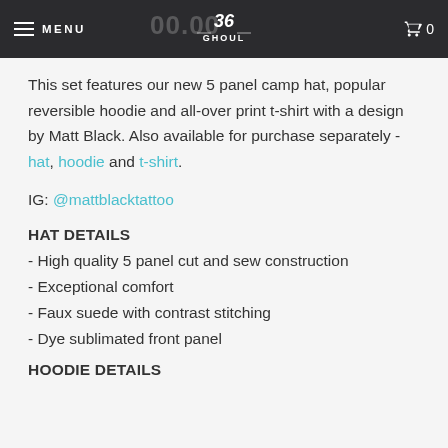MENU   36 GHOUL logo   0
This set features our new 5 panel camp hat, popular reversible hoodie and all-over print t-shirt with a design by Matt Black. Also available for purchase separately - hat, hoodie and t-shirt.
IG: @mattblacktattoo
HAT DETAILS
- High quality 5 panel cut and sew construction
- Exceptional comfort
- Faux suede with contrast stitching
- Dye sublimated front panel
HOODIE DETAILS